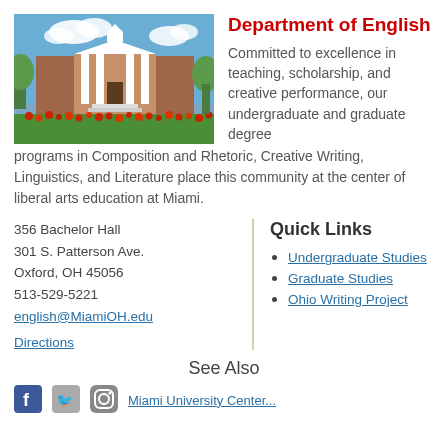[Figure (photo): Exterior photo of a brick university building (Bachelor Hall) with white columns and a cupola, surrounded by flower gardens and trees against a blue sky.]
Department of English
Committed to excellence in teaching, scholarship, and creative performance, our undergraduate and graduate degree programs in Composition and Rhetoric, Creative Writing, Linguistics, and Literature place this community at the center of liberal arts education at Miami.
356 Bachelor Hall
301 S. Patterson Ave.
Oxford, OH 45056
513-529-5221
english@MiamiOH.edu

Directions
Quick Links
Undergraduate Studies
Graduate Studies
Ohio Writing Project
See Also
Miami University Center...